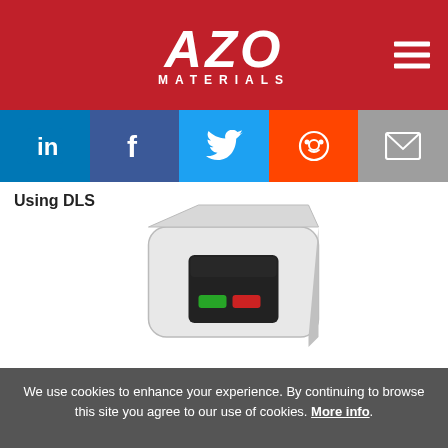[Figure (logo): AZO MATERIALS logo in white on red background with hamburger menu icon]
[Figure (infographic): Social media sharing bar with LinkedIn, Facebook, Twitter, Reddit, and Email icons]
Using DLS
[Figure (photo): White compact DLS instrument device with black panel and colored indicator lights]
We use cookies to enhance your experience. By continuing to browse this site you agree to our use of cookies. More info.
✓ Accept
Cookie Settings